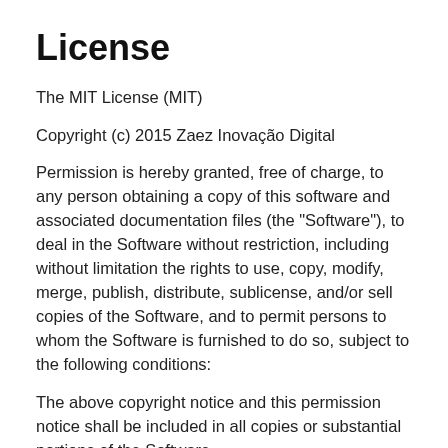License
The MIT License (MIT)
Copyright (c) 2015 Zaez Inovação Digital
Permission is hereby granted, free of charge, to any person obtaining a copy of this software and associated documentation files (the "Software"), to deal in the Software without restriction, including without limitation the rights to use, copy, modify, merge, publish, distribute, sublicense, and/or sell copies of the Software, and to permit persons to whom the Software is furnished to do so, subject to the following conditions:
The above copyright notice and this permission notice shall be included in all copies or substantial portions of the Software.
THE SOFTWARE IS PROVIDED "AS IS" WITHOUT